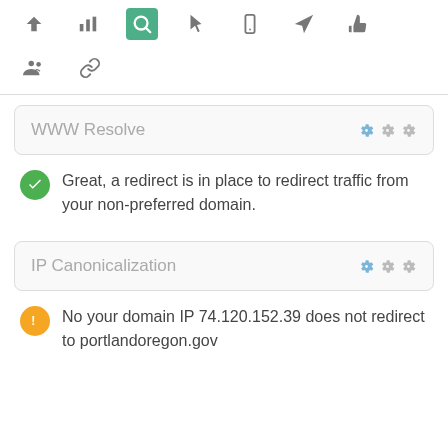[Figure (screenshot): Top navigation toolbar with icons: up arrow, bar chart, search (active/green), pointer, mobile, send, thumbs up, group/people, link icons]
WWW Resolve
Great, a redirect is in place to redirect traffic from your non-preferred domain.
IP Canonicalization
No your domain IP 74.120.152.39 does not redirect to portlandoregon.gov